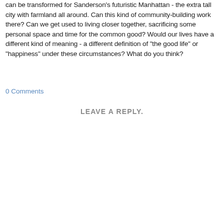can be transformed for Sanderson's futuristic Manhattan - the extra tall city with farmland all around. Can this kind of community-building work there? Can we get used to living closer together, sacrificing some personal space and time for the common good? Would our lives have a different kind of meaning - a different definition of "the good life" or "happiness" under these circumstances? What do you think?
0 Comments
LEAVE A REPLY.